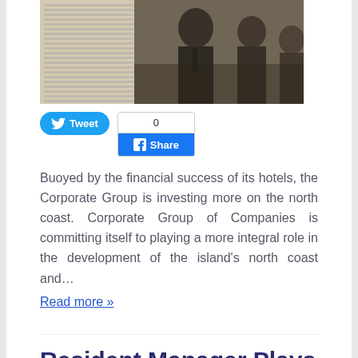[Figure (photo): Black and white newspaper photograph showing people at an event, overlaid on newspaper text columns.]
Tweet
0 Share
Buoyed by the financial success of its hotels, the Corporate Group is investing more on the north coast. Corporate Group of Companies is committing itself to playing a more integral role in the development of the island's north coast and…
Read more »
Resident Manager Plays Piano